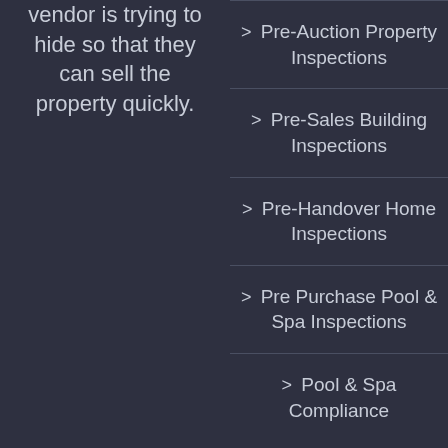vendor is trying to hide so that they can sell the property quickly.
> Pre-Auction Property Inspections
> Pre-Sales Building Inspections
> Pre-Handover Home Inspections
> Pre Purchase Pool & Spa Inspections
> Pool & Spa Compliance